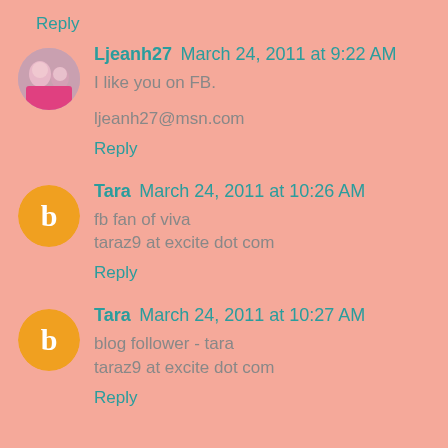Reply
Ljeanh27 March 24, 2011 at 9:22 AM
I like you on FB.
ljeanh27@msn.com
Reply
Tara March 24, 2011 at 10:26 AM
fb fan of viva
taraz9 at excite dot com
Reply
Tara March 24, 2011 at 10:27 AM
blog follower - tara
taraz9 at excite dot com
Reply